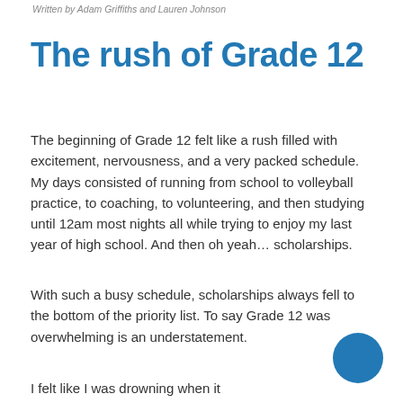Written by Adam Griffiths and Lauren Johnson
The rush of Grade 12
The beginning of Grade 12 felt like a rush filled with excitement, nervousness, and a very packed schedule. My days consisted of running from school to volleyball practice, to coaching, to volunteering, and then studying until 12am most nights all while trying to enjoy my last year of high school. And then oh yeah… scholarships.
With such a busy schedule, scholarships always fell to the bottom of the priority list. To say Grade 12 was overwhelming is an understatement.
I felt like I was drowning when it came to navigating